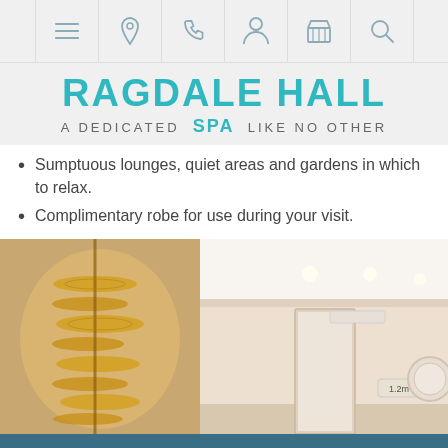Navigation bar with menu, location, phone, person, basket, search icons
RAGDALE HALL — a dedicated SPA like no other
Sumptuous lounges, quiet areas and gardens in which to relax.
Complimentary robe for use during your visit.
[Figure (photo): Interior of Ragdale Hall Spa showing ornate gold chandelier on the left and a bright modern corridor with a person in a white robe walking in the centre background. A 1.2m distance marker sign is visible on the wall.]
CHECK SPA LATE AVAILABILITY